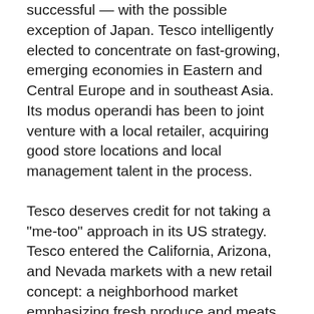successful — with the possible exception of Japan. Tesco intelligently elected to concentrate on fast-growing, emerging economies in Eastern and Central Europe and in southeast Asia. Its modus operandi has been to joint venture with a local retailer, acquiring good store locations and local management talent in the process.
Tesco deserves credit for not taking a "me-too" approach in its US strategy. Tesco entered the California, Arizona, and Nevada markets with a new retail concept: a neighborhood market emphasizing fresh produce and meats, and good quality but value-priced prepared meals. Averaging 4,000 items in assortment, its Fresh & Easy stores aimed to be distinctive on those two attributes: fresh and easy, conveniently located stores with a conveniently preselected assortment.
C. Tesco never did win over a number of the broad...